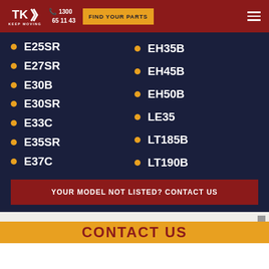TKW KEEP MOVING | 1300 651143 | FIND YOUR PARTS
E25SR
E27SR
E30B
E30SR
E33C
E35SR
E37C
EH35B
EH45B
EH50B
LE35
LT185B
LT190B
YOUR MODEL NOT LISTED? CONTACT US
CONTACT US